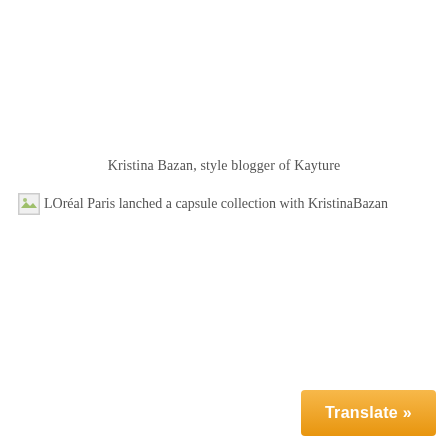Kristina Bazan, style blogger of Kayture
[Figure (photo): Broken image placeholder icon followed by alt text: LOréal Paris lanched a capsule collection with KristinaBazan]
Translate »